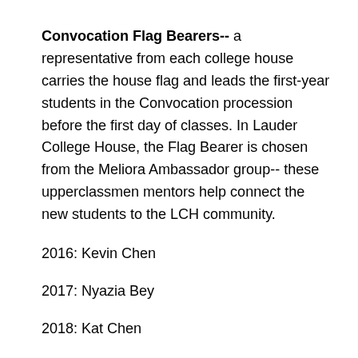Convocation Flag Bearers-- a representative from each college house carries the house flag and leads the first-year students in the Convocation procession before the first day of classes. In Lauder College House, the Flag Bearer is chosen from the Meliora Ambassador group-- these upperclassmen mentors help connect the new students to the LCH community.
2016: Kevin Chen
2017: Nyazia Bey
2018: Kat Chen
2019: Jacky Chan